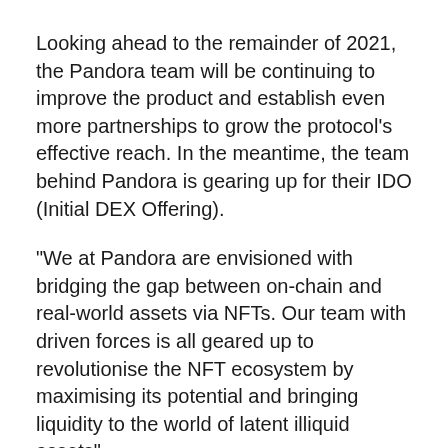Looking ahead to the remainder of 2021, the Pandora team will be continuing to improve the product and establish even more partnerships to grow the protocol's effective reach. In the meantime, the team behind Pandora is gearing up for their IDO (Initial DEX Offering).
“We at Pandora are envisioned with bridging the gap between on-chain and real-world assets via NFTs. Our team with driven forces is all geared up to revolutionise the NFT ecosystem by maximising its potential and bringing liquidity to the world of latent illiquid assets”.
– Pushkar Vohra, Founder & CEO – Pandora Finance